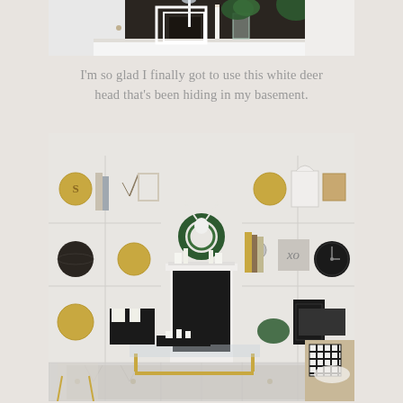[Figure (photo): Top portion of a styled interior vignette showing white frames, candles, glass vase with tropical leaves on a white surface, against a dark background]
I'm so glad I finally got to use this white deer head that's been hiding in my basement.
[Figure (photo): Living room with white built-in bookshelves flanking a white fireplace. Shelves decorated with gold plates, black objects, books, and decorative items. A green wreath and white deer head mounted above the fireplace. A glass-top coffee table with brass legs, patterned rug, and sofa with black and white plaid pillow visible in the foreground.]